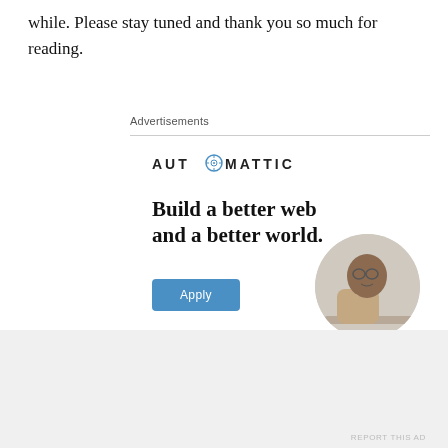while. Please stay tuned and thank you so much for reading.
Advertisements
[Figure (illustration): Automattic advertisement banner with logo, tagline 'Build a better web and a better world.', Apply button, and circular photo of a person thinking]
REPORT THIS AD
JUNE 4, 2017
Advertisements
REPORT THIS AD